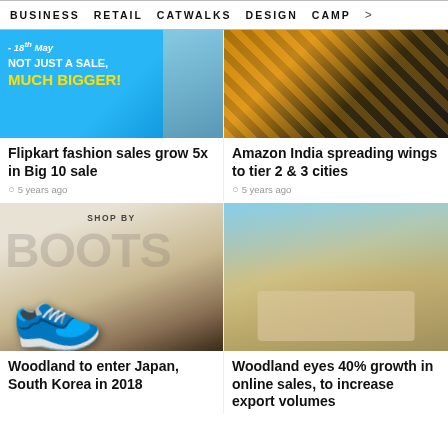BUSINESS   RETAIL   CATWALKS   DESIGN   CAMP >
[Figure (photo): Flipkart fashion sale promotional banner with blue background, text '18th May - NOT JUST A SALE, MUCH BIGGER!']
Flipkart fashion sales grow 5x in Big 10 sale
5 years ago
[Figure (photo): Amazon India - people in yellow sports uniforms, cricket theme]
Amazon India spreading wings to tier 2 & 3 cities
5 years ago
[Figure (photo): Woodland boots promotional image - Shop by Boots, large boot shoe on rocky terrain]
Woodland to enter Japan, South Korea in 2018
[Figure (photo): Two young people in casual outdoor clothes, Woodland brand]
Woodland eyes 40% growth in online sales, to increase export volumes